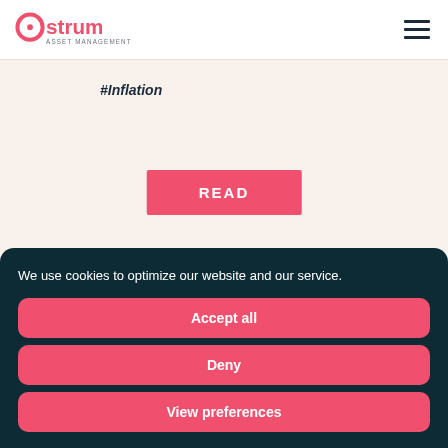Ostrum Asset Management
#Inflation
READ
We use cookies to optimize our website and our service.
Accept all
Deny
View preferences